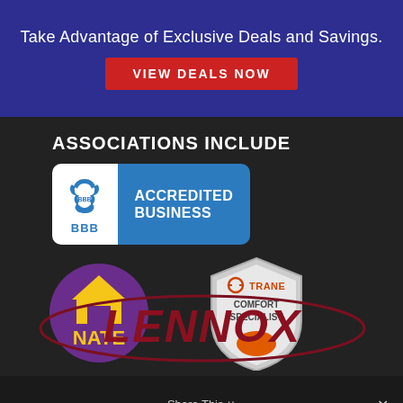Take Advantage of Exclusive Deals and Savings.
VIEW DEALS NOW
ASSOCIATIONS INCLUDE
[Figure (logo): BBB Accredited Business badge with blue and white design]
[Figure (logo): NATE certification logo - purple circle with yellow house and NATE text]
[Figure (logo): Trane Comfort Specialist badge - silver shield with orange flame]
[Figure (logo): Lennox brand logo in dark red italic text with oval outline]
Share This ∨
Scottsdale Air Heating &